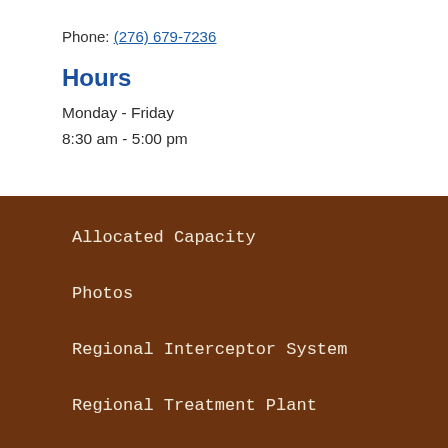Phone: (276) 679-7236
Hours
Monday - Friday
8:30 am - 5:00 pm
Allocated Capacity
Photos
Regional Interceptor System
Regional Treatment Plant